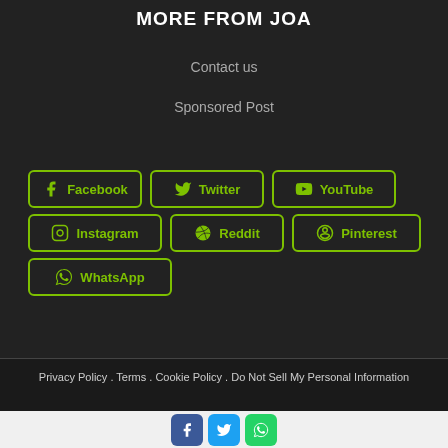MORE FROM JOA
Contact us
Sponsored Post
[Figure (other): Social media buttons: Facebook, Twitter, YouTube, Instagram, Reddit, Pinterest, WhatsApp — green outlined buttons on dark background]
Privacy Policy . Terms . Cookie Policy . Do Not Sell My Personal Information
[Figure (other): Bottom share bar with Facebook (blue), Twitter (blue), WhatsApp (green) icon buttons]